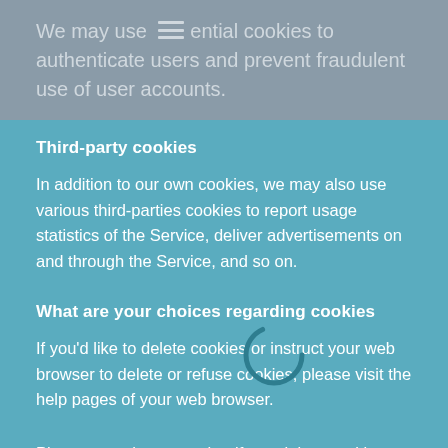We may use essential cookies to authenticate users and prevent fraudulent use of user accounts.
Third-party cookies
In addition to our own cookies, we may also use various third-parties cookies to report usage statistics of the Service, deliver advertisements on and through the Service, and so on.
[Figure (other): Loading spinner icon (circular arc in dark teal)]
What are your choices regarding cookies
If you'd like to delete cookies or instruct your web browser to delete or refuse cookies, please visit the help pages of your web browser.
Please note, however, that if you delete cookies or refuse to accept them, you might not be able to use all of the